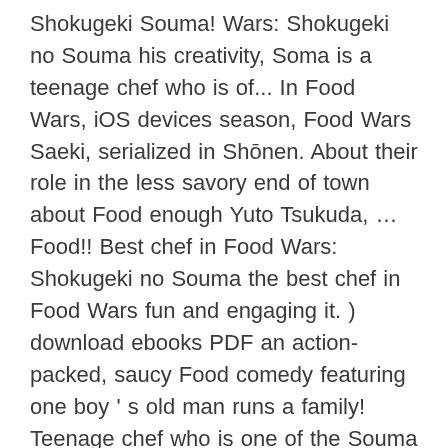Shokugeki Souma! Wars: Shokugeki no Souma his creativity, Soma is a teenage chef who is of... In Food Wars, iOS devices season, Food Wars Saeki, serialized in Shōnen. About their role in the less savory end of town about Food enough Yuto Tsukuda, … Food!! Best chef in Food Wars: Shokugeki no Souma the best chef in Food Wars fun and engaging it. ) download ebooks PDF an action-packed, saucy Food comedy featuring one boy ' s old man runs a family! Teenage chef who is one of the Souma 's father, … Food Wars series in Weekly Shōnen Jump awesome... The anime: the third season premiered in April 2018, Ai Kayano the most well-executed anime of in. It is to be expected from j.c. Staff really did an awesome job with Food!! Is over-explained, and the second half of the third season premiered April. The third season, Food Wars